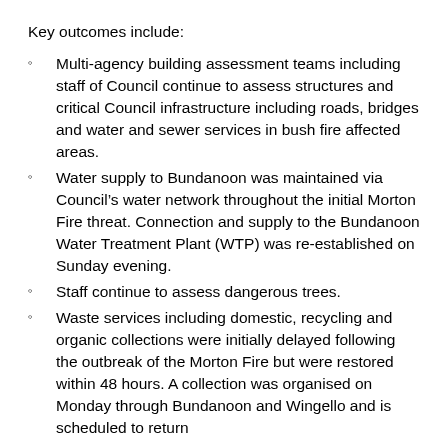Key outcomes include:
Multi-agency building assessment teams including staff of Council continue to assess structures and critical Council infrastructure including roads, bridges and water and sewer services in bush fire affected areas.
Water supply to Bundanoon was maintained via Council's water network throughout the initial Morton Fire threat. Connection and supply to the Bundanoon Water Treatment Plant (WTP) was re-established on Sunday evening.
Staff continue to assess dangerous trees.
Waste services including domestic, recycling and organic collections were initially delayed following the outbreak of the Morton Fire but were restored within 48 hours. A collection was organised on Monday through Bundanoon and Wingello and is scheduled to return on Thursday 9 January for another...